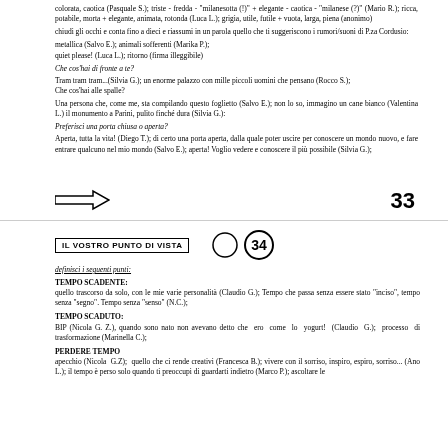colorata, caotica (Pasquale S.); triste - fredda - "milanesotta (!)" + elegante - caotica - "milanese (?)" (Mario R.); ricca, potabile, morta + elegante, animata, rotonda (Luca L.); grigia, utile, futile + vuota, larga, piena (anonimo)
chiudi gli occhi e conta fino a dieci e riassumi in un parola quello che ti suggeriscono i rumori/suoni di P.za Cordusio:
metallica (Salvo E.); animali sofferenti (Marika P.); quiet please! (Luca L.); ritorno (firma illeggibile)
Che cos'hai di fronte a te?
Tram tram tram...(Silvia G.); un enorme palazzo con mille piccoli uomini che pensano (Rocco S.); Che cos'hai alle spalle?
Una persona che, come me, sta compilando questo foglietto (Salvo E.); non lo so, immagino un cane bianco (Valentina L.) il monumento a Parini, pulito finché dura (Silvia G.):
Preferisci una porta chiusa o aperta?
Aperta, tutta la vita! (Diego T.); di certo una porta aperta, dalla quale poter uscire per conoscere un mondo nuovo, e fare entrare qualcuno nel mio mondo (Salvo E.); aperta! Voglio vedere e conoscere il più possibile (Silvia G.);
[Figure (illustration): Arrow pointing right (outline arrow)]
33
IL VOSTRO PUNTO DI VISTA
[Figure (illustration): Empty circle and circle with number 34 inside]
definisci i seguenti punti:
TEMPO SCADENTE: quello trascorso da solo, con le mie varie personalità (Claudio G.); Tempo che passa senza essere stato "inciso", tempo senza "segno". Tempo senza "senso" (N.C.);
TEMPO SCADUTO: BIP (Nicola G. Z.), quando sono nato non avevano detto che ero come lo yogurt! (Claudio G.); processo di trasformazione (Marinella C.);
PERDERE TEMPO apecchio (Nicola G.Z); quello che ci rende creativi (Francesca B.); vivere con il sorriso, inspiro, espiro, sorriso... (Ano L.); il tempo è perso solo quando ti preoccupi di guardarti indietro (Marco P.); ascoltare le